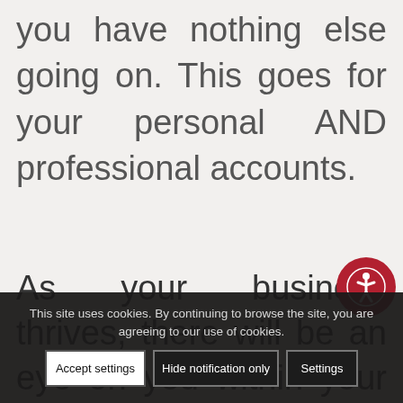you have nothing else going on. This goes for your personal AND professional accounts.
As your business thrives, there will be an eye on you within your social media platforms. It's important to keep your content light, fun, but still professional and
This site uses cookies. By continuing to browse the site, you are agreeing to our use of cookies.